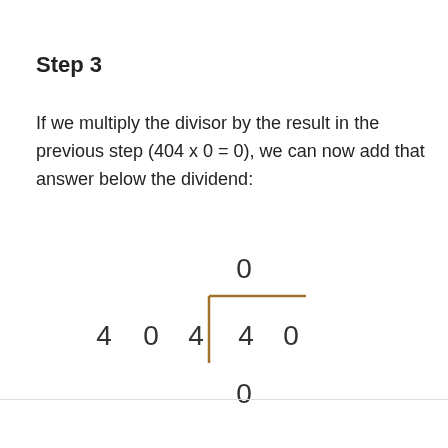Step 3
If we multiply the divisor by the result in the previous step (404 x 0 = 0), we can now add that answer below the dividend:
[Figure (math-figure): Long division diagram showing 404 dividing into 40 with quotient 0 above and remainder 0 below the dividend line. The divisor 404 is on the left, dividend digits 4 0 are inside the division bracket, quotient 0 is above the bracket, and 0 is shown below as the subtraction result.]